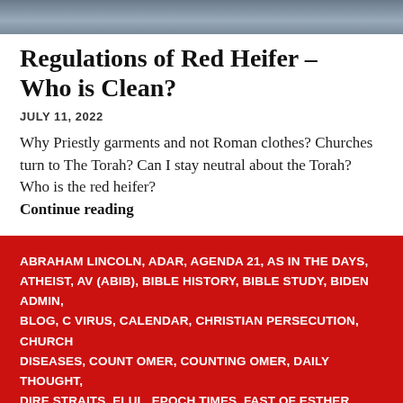[Figure (photo): Partial photo strip at top of page, appears to show a figure in dark tones]
Regulations of Red Heifer – Who is Clean?
JULY 11, 2022
Why Priestly garments and not Roman clothes? Churches turn to The Torah? Can I stay neutral about the Torah? Who is the red heifer?
Continue reading
ABRAHAM LINCOLN, ADAR, AGENDA 21, AS IN THE DAYS, ATHEIST, AV (ABIB), BIBLE HISTORY, BIBLE STUDY, BIDEN ADMIN, BLOG, C VIRUS, CALENDAR, CHRISTIAN PERSECUTION, CHURCH DISEASES, COUNT OMER, COUNTING OMER, DAILY THOUGHT, DIRE STRAITS, ELUL, EPOCH TIMES, FAST OF ESTHER, FATHER ABRAHAM, GOD DIVORCES US, GOOD BAD UGLY, HEAD OF